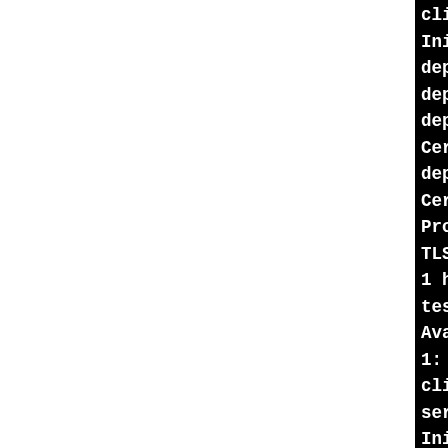client authentication
Initial proxy rights = BC
depth=3 /C=AU/O=Dodgy Bro
depth=2 /C=AU/O=Dodgy Bro
depth=1 /C=AU/O=Dodgy Bro
Certificate proxy rights =
depth=0 /C=AU/O=Dodgy Bro
Certificate proxy rights =
Proxy rights check with co
TLSv1.2, cipher TLSv1/SSLv
1 handshakes of 256 bytes
test sslv2/sslv3 with both
Available compression meth
1: zlib compression
client authentication
server authentication
Initial proxy rights = BC
depth=3 /C=AU/O=Dodgy Bro
depth=2 /C=AU/O=Dodgy Bro
depth=1 /C=AU/O=Dodgy Bro
Certificate proxy rights =
depth=0 /C=AU/O=Dodgy Bro
Certificate proxy rights =
Proxy rights check with co